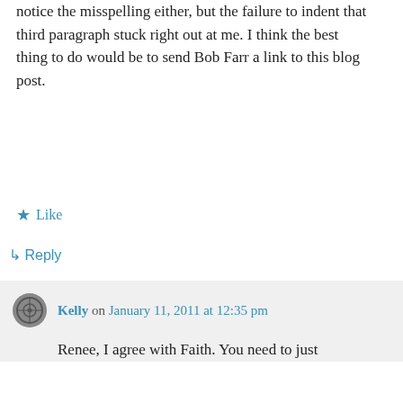notice the misspelling either, but the failure to indent that third paragraph stuck right out at me. I think the best thing to do would be to send Bob Farr a link to this blog post.
★ Like
↳ Reply
Kelly on January 11, 2011 at 12:35 pm
Renee, I agree with Faith. You need to just
Privacy & Cookies: This site uses cookies. By continuing to use this website, you agree to their use. To find out more, including how to control cookies, see here: Cookie Policy
Close and accept